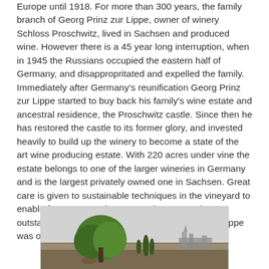Europe until 1918. For more than 300 years, the family branch of Georg Prinz zur Lippe, owner of winery Schloss Proschwitz, lived in Sachsen and produced wine. However there is a 45 year long interruption, when in 1945 the Russians occupied the eastern half of Germany, and disappropritated and expelled the family. Immediately after Germany's reunification Georg Prinz zur Lippe started to buy back his family's wine estate and ancestral residence, the Proschwitz castle. Since then he has restored the castle to its former glory, and invested heavily to build up the winery to become a state of the art wine producing estate. With 220 acres under vine the estate belongs to one of the larger wineries in Germany and is the largest privately owned one in Sachsen. Great care is given to sustainable techniques in the vineyard to enable future generations to continue to produce outstanding wines. Professor Dr. Prinz Georg zur Lippe was our host. He also joint us for dinner.
[Figure (photo): Outdoor photograph showing a large green tree in the foreground with a misty/overcast landscape and what appears to be a castle or historic buildings in the background.]